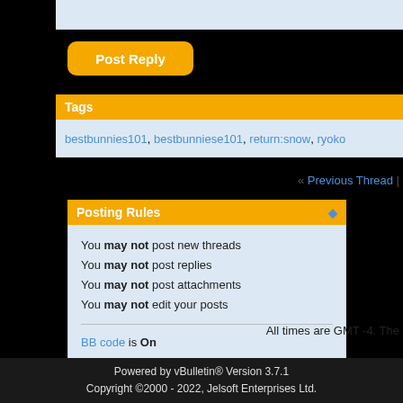Post Reply
Tags
bestbunnies101, bestbunniese101, return:snow, ryoko
« Previous Thread |
Posting Rules
You may not post new threads
You may not post replies
You may not post attachments
You may not edit your posts
BB code is On
Smilies are On
[IMG] code is On
HTML code is Off
All times are GMT -4. The
Powered by vBulletin® Version 3.7.1
Copyright ©2000 - 2022, Jelsoft Enterprises Ltd.